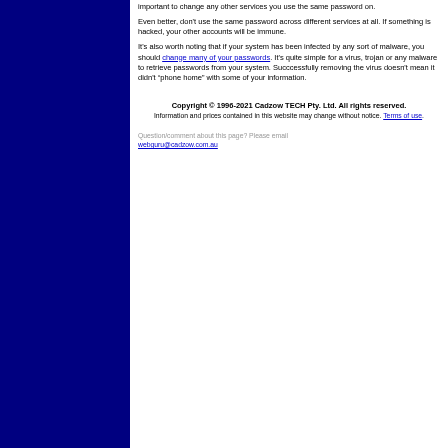important to change any other services you use the same password on.
Even better, don't use the same password across different services at all. If something is hacked, your other accounts will be immune.
It's also worth noting that if your system has been infected by any sort of malware, you should change many of your passwords. It's quite simple for a virus, trojan or any malware to retrieve passwords from your system. Succcessfully removing the virus doesn't mean it didn't “phone home” with some of your information.
Copyright © 1996-2021 Cadzow TECH Pty. Ltd. All rights reserved. Information and prices contained in this website may change without notice. Terms of use.
Question/comment about this page? Please email webguru@cadzow.com.au